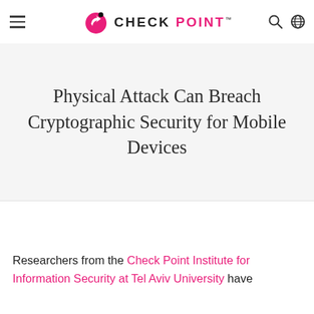CHECK POINT (logo header with navigation)
Physical Attack Can Breach Cryptographic Security for Mobile Devices
Researchers from the Check Point Institute for Information Security at Tel Aviv University have